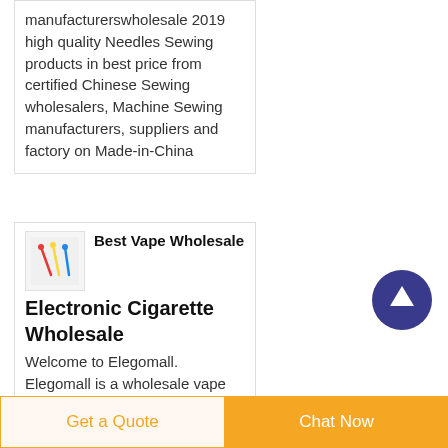manufacturerswholesale 2019 high quality Needles Sewing products in best price from certified Chinese Sewing wholesalers, Machine Sewing manufacturers, suppliers and factory on Made-in-China
[Figure (photo): Small thumbnail image of sewing needles/pins]
Best Vape Wholesale Electronic Cigarette Wholesale
Welcome to Elegomall. Elegomall is a wholesale vape division of Electronic cigrattes company. It is a China based
[Figure (other): Scroll-to-top circular button with upward arrow, dark blue/indigo color]
Get a Quote
Chat Now